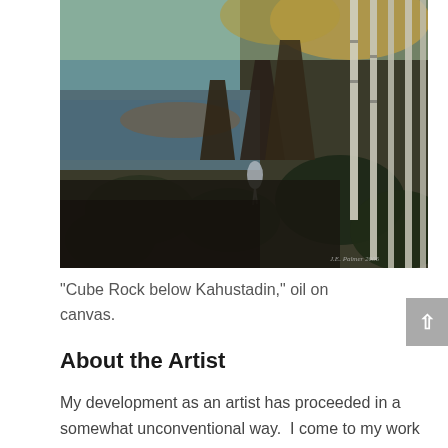[Figure (photo): Oil painting titled 'Cube Rock below Kahustadin' showing a forest river scene with birch trees, mossy rocks, and a heron near the water. Signed 'J.E. Palmer 2006' in the lower right corner.]
“Cube Rock below Kahustadin,” oil on canvas.
About the Artist
My development as an artist has proceeded in a somewhat unconventional way.  I come to my work